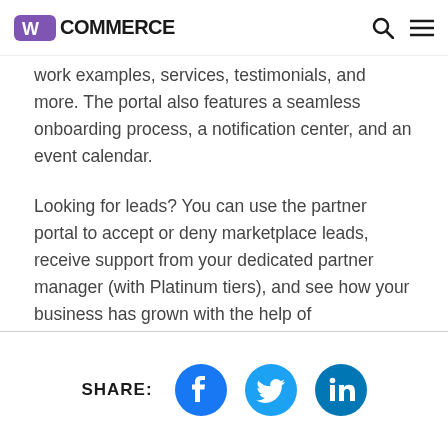WooCommerce
work examples, services, testimonials, and more. The portal also features a seamless onboarding process, a notification center, and an event calendar.
Looking for leads? You can use the partner portal to accept or deny marketplace leads, receive support from your dedicated partner manager (with Platinum tiers), and see how your business has grown with the help of WooCommerce.
SHARE: [Facebook] [Twitter] [LinkedIn]